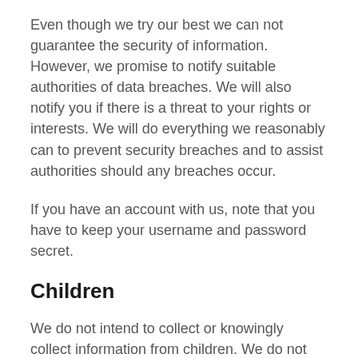Even though we try our best we can not guarantee the security of information. However, we promise to notify suitable authorities of data breaches. We will also notify you if there is a threat to your rights or interests. We will do everything we reasonably can to prevent security breaches and to assist authorities should any breaches occur.
If you have an account with us, note that you have to keep your username and password secret.
Children
We do not intend to collect or knowingly collect information from children. We do not